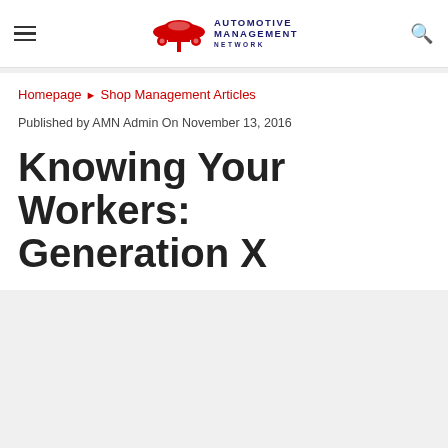Automotive Management Network
Homepage ▶ Shop Management Articles
Published by AMN Admin On November 13, 2016
Knowing Your Workers: Generation X
[Figure (photo): Grey placeholder image area below the article title]